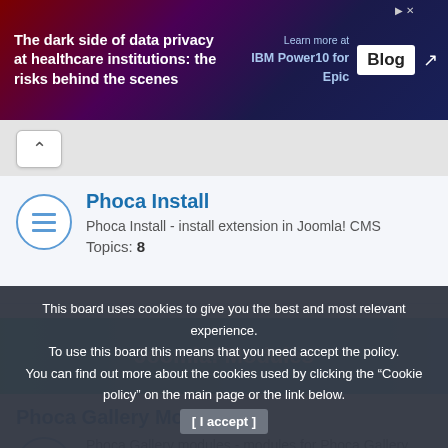[Figure (screenshot): Advertisement banner: 'The dark side of data privacy at healthcare institutions: the risks behind the scenes' with IBM Power10 Blog link]
Phoca Install
Phoca Install - install extension in Joomla! CMS
Topics: 8
Joomla! Modules
Phoca Gallery Modules
Phoca Gallery modules - modules for Phoca Gallery extension
Topics: 601
Phoca Modules
This board uses cookies to give you the best and most relevant experience. To use this board this means that you need accept the policy. You can find out more about the cookies used by clicking the "Cookie policy" on the main page or the link below.
[ I accept ]